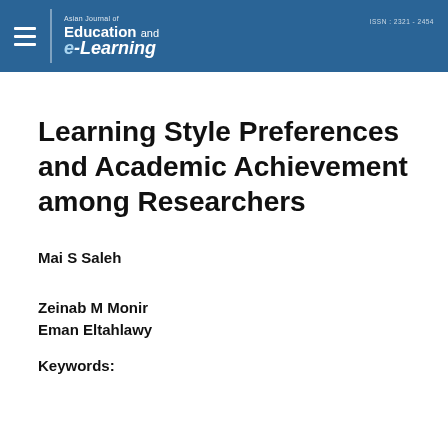Asian Journal of Education and e-Learning | ISSN: 2321-2454
Learning Style Preferences and Academic Achievement among Researchers
Mai S Saleh
Zeinab M Monir
Eman Eltahlawy
Keywords: